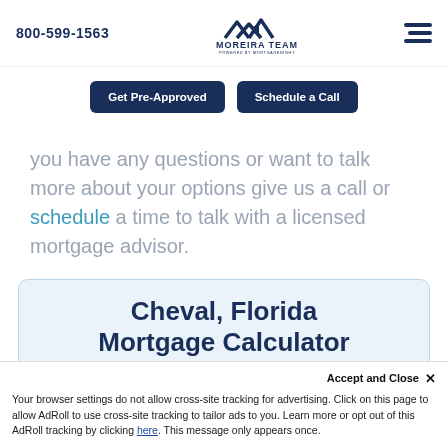800-599-1563  |  MOREIRA TEAM POWERED BY MORTGAGERIGHT
[Figure (logo): Moreira Team logo with house/roof icon and text 'MOREIRA TEAM POWERED BY MORTGAGERIGHT']
Get Pre-Approved    Schedule a Call
you have any questions or want to talk more about your options give us a call or schedule a time to talk with a licensed mortgage advisor.
Cheval, Florida Mortgage Calculator
Accept and Close ×
Your browser settings do not allow cross-site tracking for advertising. Click on this page to allow AdRoll to use cross-site tracking to tailor ads to you. Learn more or opt out of this AdRoll tracking by clicking here. This message only appears once.